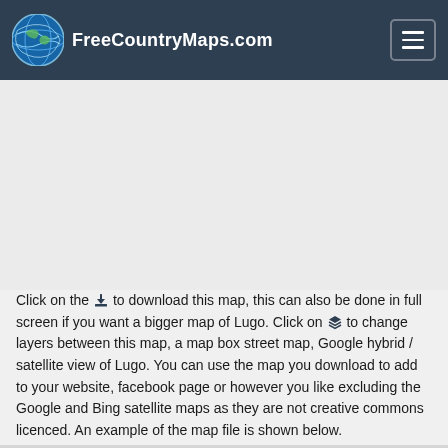FreeCountryMaps.com
[Figure (other): Advertisement placeholder area (grey background)]
Click on the [download icon] to download this map, this can also be done in full screen if you want a bigger map of Lugo. Click on [layers icon] to change layers between this map, a map box street map, Google hybrid / satellite view of Lugo. You can use the map you download to add to your website, facebook page or however you like excluding the Google and Bing satellite maps as they are not creative commons licenced. An example of the map file is shown below.